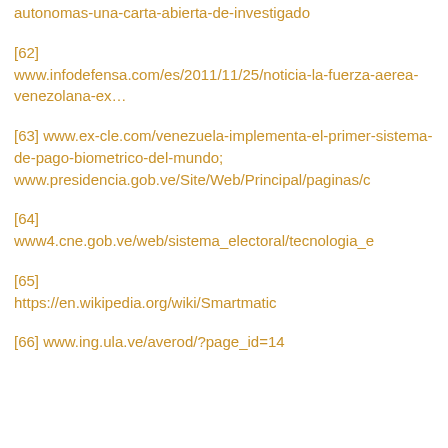autonomas-una-carta-abierta-de-investigado
[62] www.infodefensa.com/es/2011/11/25/noticia-la-fuerza-aerea-venezolana-ex…
[63] www.ex-cle.com/venezuela-implementa-el-primer-sistema-de-pago-biometrico-del-mundo; www.presidencia.gob.ve/Site/Web/Principal/paginas/c
[64] www4.cne.gob.ve/web/sistema_electoral/tecnologia_e
[65] https://en.wikipedia.org/wiki/Smartmatic
[66] www.ing.ula.ve/averod/?page_id=14